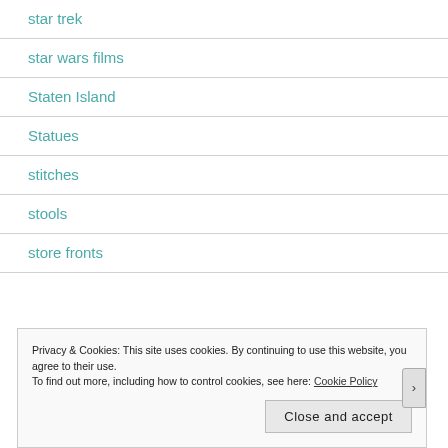star trek
star wars films
Staten Island
Statues
stitches
stools
store fronts
Privacy & Cookies: This site uses cookies. By continuing to use this website, you agree to their use. To find out more, including how to control cookies, see here: Cookie Policy
Close and accept